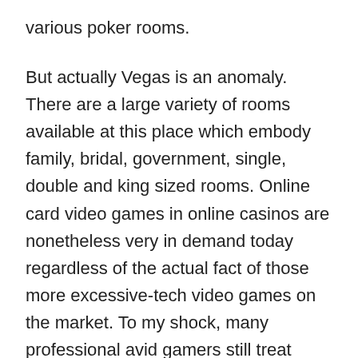various poker rooms.
But actually Vegas is an anomaly. There are a large variety of rooms available at this place which embody family, bridal, government, single, double and king sized rooms. Online card video games in online casinos are nonetheless very in demand today regardless of the actual fact of those more excessive-tech video games on the market. To my shock, many professional avid gamers still treat enjoying on-line card games as part of their lives and it remains to be on excessive demand as of in the present day. One group collected over 4,200 specimens July 6-15 at a group-based testing site at Nicolet Highschool in Glendale. The Brat Pack installment starred Molly Ringwald as one more highschool princess cursed